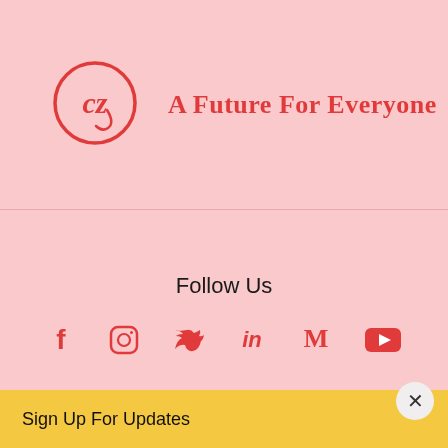[Figure (logo): CZG circular logo in red with stylized letters CZG inside a circle]
A Future For Everyone
Follow Us
[Figure (infographic): Row of social media icons: Facebook, Instagram, Twitter, LinkedIn, Medium, YouTube — all in red]
Sign Up For Updates